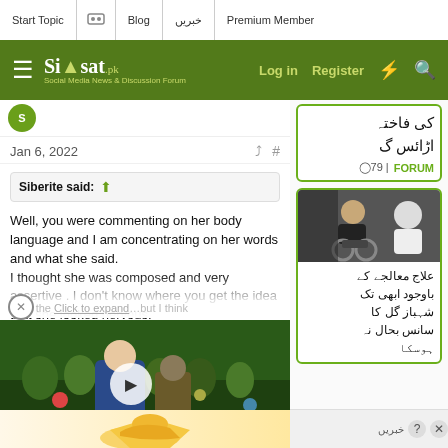Start Topic | Blog | خبریں | Premium Member
Siasat - Social Media News & Discussion Forum | Log in | Register
Jan 6, 2022
Siberite said:
Well, you were commenting on her body language and I am concentrating on her words and what she said.
I thought she was composed and very assertive . I don't know where you get the idea that she looked nervous.
[Figure (screenshot): Video thumbnail showing parliament scene with play button overlay]
کی فاختہ اڑائس گ
79 | FORUM
[Figure (photo): Photo of a person in a wheelchair]
علاج معالجے کے باوجود ابھی تک شہباز گل کا سانس بحال نہ ہوسکا
خبریں